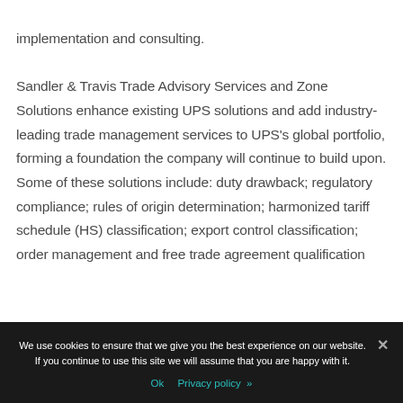implementation and consulting. Sandler & Travis Trade Advisory Services and Zone Solutions enhance existing UPS solutions and add industry-leading trade management services to UPS's global portfolio, forming a foundation the company will continue to build upon. Some of these solutions include: duty drawback; regulatory compliance; rules of origin determination; harmonized tariff schedule (HS) classification; export control classification; order management and free trade agreement qualification
We use cookies to ensure that we give you the best experience on our website. If you continue to use this site we will assume that you are happy with it.
Ok   Privacy policy >>